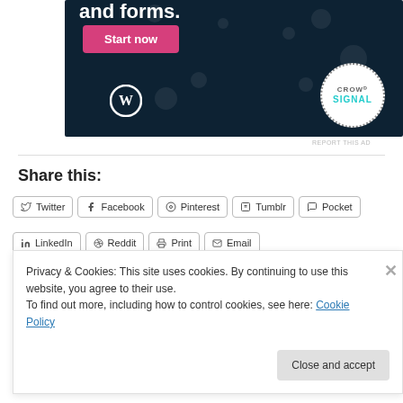[Figure (illustration): Advertisement banner with dark navy background featuring 'and forms.' text, a pink 'Start now' button, WordPress logo, and Crowdsignal circular logo with dotted border]
REPORT THIS AD
Share this:
Twitter Facebook Pinterest Tumblr Pocket
LinkedIn Reddit Print Email
Privacy & Cookies: This site uses cookies. By continuing to use this website, you agree to their use.
To find out more, including how to control cookies, see here: Cookie Policy
Close and accept